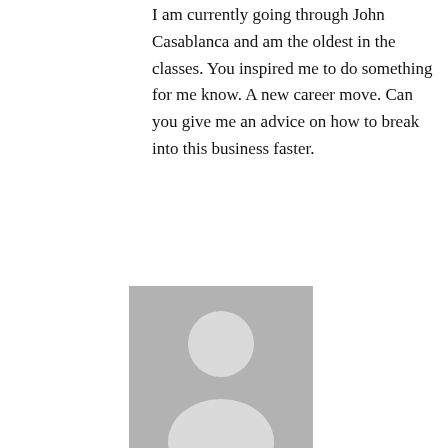I am currently going through John Casablanca and am the oldest in the classes. You inspired me to do something for me know. A new career move. Can you give me an advice on how to break into this business faster.
[Figure (photo): Gray placeholder avatar silhouette]
AccidentalIcon on May 8, 2020 at 12:10 pm
Wonderful and congratulations! what career is it you are hoping to find.
66.
[Figure (photo): Photo of a young woman with long brown hair on a city street]
Elizabeth Walker on May 6, 2020 at 1:58 am